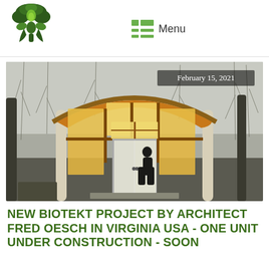[Figure (logo): Green tree logo icon — stylized oak tree with figure/person shape in trunk, dark green leaves]
Menu
[Figure (photo): Photograph of a small building with an arched curved wood roof and large glass panel windows glowing yellow from interior lighting. A person (silhouette) stands in the doorway. Surrounded by bare winter trees. Date overlay reads February 15, 2021.]
NEW BIOTEKT PROJECT BY ARCHITECT FRED OESCH IN VIRGINIA USA - ONE UNIT UNDER CONSTRUCTION - SOON